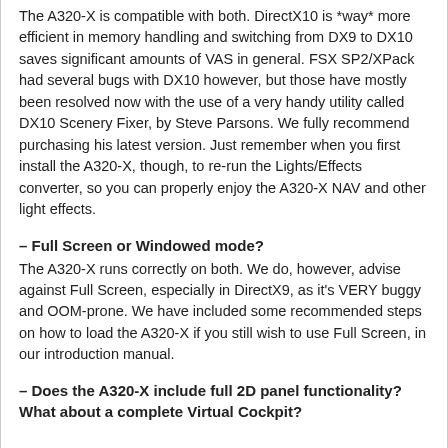The A320-X is compatible with both. DirectX10 is *way* more efficient in memory handling and switching from DX9 to DX10 saves significant amounts of VAS in general. FSX SP2/XPack had several bugs with DX10 however, but those have mostly been resolved now with the use of a very handy utility called DX10 Scenery Fixer, by Steve Parsons. We fully recommend purchasing his latest version. Just remember when you first install the A320-X, though, to re-run the Lights/Effects converter, so you can properly enjoy the A320-X NAV and other light effects.
– Full Screen or Windowed mode?
The A320-X runs correctly on both. We do, however, advise against Full Screen, especially in DirectX9, as it's VERY buggy and OOM-prone. We have included some recommended steps on how to load the A320-X if you still wish to use Full Screen, in our introduction manual.
– Does the A320-X include full 2D panel functionality? What about a complete Virtual Cockpit?